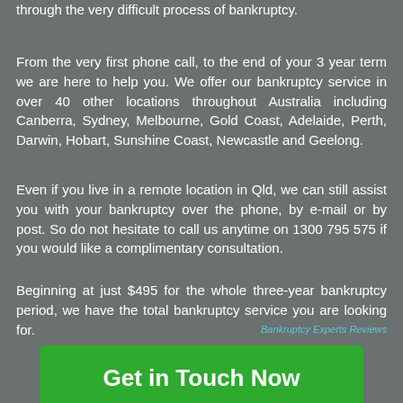through the very difficult process of bankruptcy.
From the very first phone call, to the end of your 3 year term we are here to help you. We offer our bankruptcy service in over 40 other locations throughout Australia including Canberra, Sydney, Melbourne, Gold Coast, Adelaide, Perth, Darwin, Hobart, Sunshine Coast, Newcastle and Geelong.
Even if you live in a remote location in Qld, we can still assist you with your bankruptcy over the phone, by e-mail or by post. So do not hesitate to call us anytime on 1300 795 575 if you would like a complimentary consultation.
Beginning at just $495 for the whole three-year bankruptcy period, we have the total bankruptcy service you are looking for.
Bankruptcy Experts Reviews
Get in Touch Now